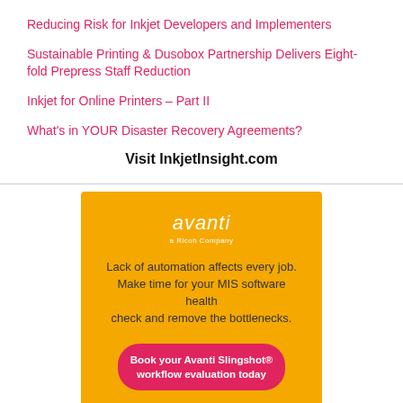Reducing Risk for Inkjet Developers and Implementers
Sustainable Printing & Dusobox Partnership Delivers Eight-fold Prepress Staff Reduction
Inkjet for Online Printers – Part II
What's in YOUR Disaster Recovery Agreements?
Visit InkjetInsight.com
[Figure (infographic): Avanti advertisement on yellow background. Logo reads 'avanti a Ricoh Company'. Text: 'Lack of automation affects every job. Make time for your MIS software health check and remove the bottlenecks.' Button: 'Book your Avanti Slingshot® workflow evaluation today']